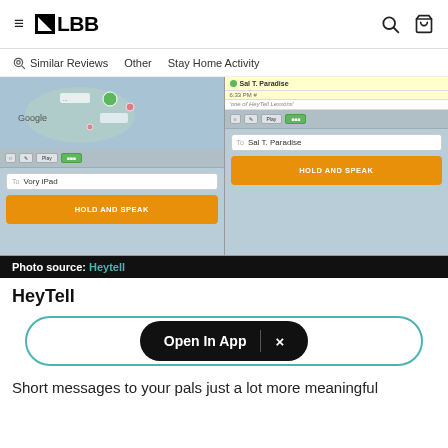≡ LBB [search icon] [bag icon]
Similar Reviews  Other  Stay Home Activity
[Figure (screenshot): Two side-by-side screenshots of the HeyTell app showing a map interface and HOLD AND SPEAK button. Left panel shows 'Vory iPad' as recipient; right panel shows 'Sal T. Paradise' as recipient with a yellow contact bar.]
Photo source: Heytell
HeyTell
Open In App  ×
Short messages to your pals just a lot more meaningful